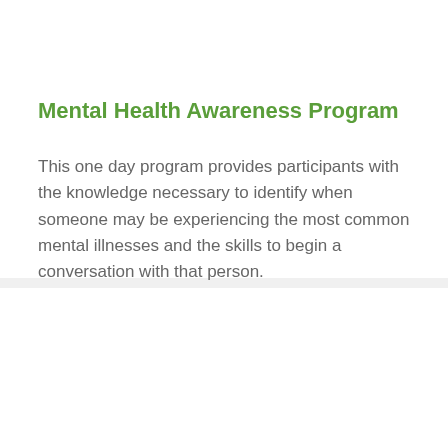Mental Health Awareness Program
This one day program provides participants with the knowledge necessary to identify when someone may be experiencing the most common mental illnesses and the skills to begin a conversation with that person.